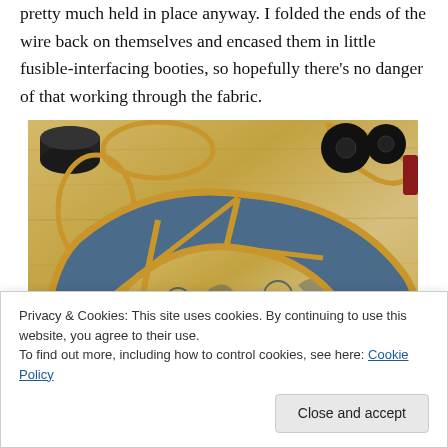pretty much held in place anyway. I folded the ends of the wire back on themselves and encased them in little fusible-interfacing booties, so hopefully there's no danger of that working through the fabric.
[Figure (photo): A photo of a crescent-shaped fabric piece with blue paisley pattern and tan/gold braided trim/cord border, placed on a light wooden surface. Sewing supplies including buttons, thread spools, and cord are visible around it.]
Privacy & Cookies: This site uses cookies. By continuing to use this website, you agree to their use.
To find out more, including how to control cookies, see here: Cookie Policy